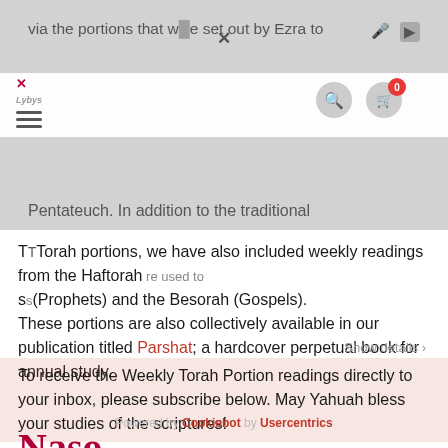via the portions that were set out by Ezra to
[Figure (screenshot): Website header bar with logo, hamburger menu, search icon, and cart icon with badge showing 0]
Pentateuch. In addition to the traditional
Torah portions, we have also included weekly readings from the Haftorah (Prophets) and the Besorah (Gospels). These portions are also collectively available in our publication titled Parshat; a hardcover perpetual book for annual study. To receive the Weekly Torah Portion readings directly to your inbox, please subscribe below. May Yahuah bless your studies of the scriptures!
Show details
Powered by Cookiebot by Usercentrics
Naso